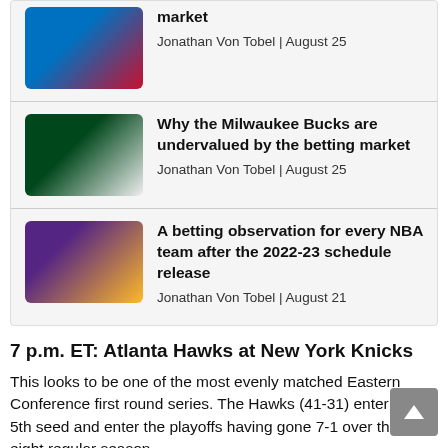[Figure (photo): Thumbnail of Oklahoma City Thunder player with arms raised]
market
Jonathan Von Tobel | August 25
[Figure (photo): Thumbnail of Milwaukee Bucks player Giannis Antetokounmpo dribbling]
Why the Milwaukee Bucks are undervalued by the betting market
Jonathan Von Tobel | August 25
[Figure (photo): Thumbnail of Los Angeles Lakers player dunking]
A betting observation for every NBA team after the 2022-23 schedule release
Jonathan Von Tobel | August 21
7 p.m. ET: Atlanta Hawks at New York Knicks
This looks to be one of the most evenly matched Eastern Conference first round series. The Hawks (41-31) enter as the 5th seed and enter the playoffs having gone 7-1 over their last eight regular season games. Meanwhile, the Knicks (47-35) enter as the